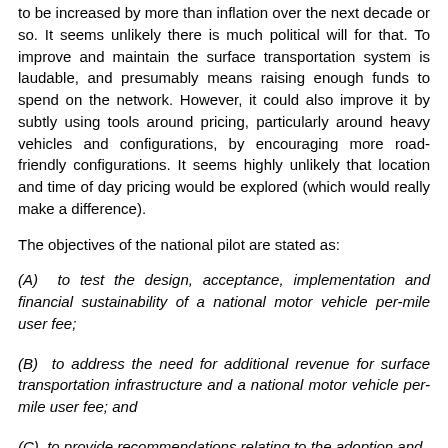to be increased by more than inflation over the next decade or so. It seems unlikely there is much political will for that. To improve and maintain the surface transportation system is laudable, and presumably means raising enough funds to spend on the network. However, it could also improve it by subtly using tools around pricing, particularly around heavy vehicles and configurations, by encouraging more road-friendly configurations. It seems highly unlikely that location and time of day pricing would be explored (which would really make a difference).
The objectives of the national pilot are stated as:
(A) to test the design, acceptance, implementation and financial sustainability of a national motor vehicle per-mile user fee;
(B) to address the need for additional revenue for surface transportation infrastructure and a national motor vehicle per-mile user fee; and
(C) to provide recommendations relating to the adoption and